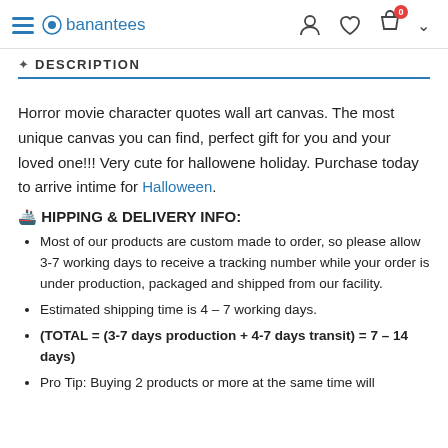banantees
DESCRIPTION
Horror movie character quotes wall art canvas. The most unique canvas you can find, perfect gift for you and your loved one!!! Very cute for hallowene holiday. Purchase today to arrive intime for Halloween.
🚢 HIPPING & DELIVERY INFO:
Most of our products are custom made to order, so please allow 3-7 working days to receive a tracking number while your order is under production, packaged and shipped from our facility.
Estimated shipping time is 4 – 7 working days.
(TOTAL = (3-7 days production + 4-7 days transit) = 7 – 14 days)
Pro Tip: Buying 2 products or more at the same time will